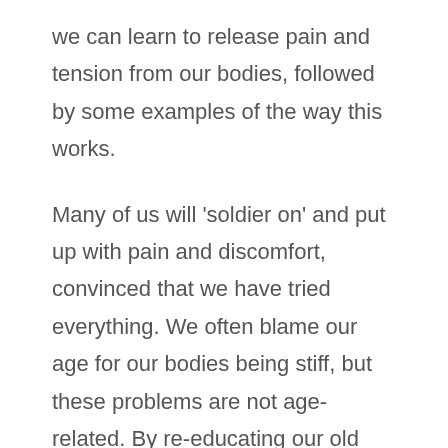we can learn to release pain and tension from our bodies, followed by some examples of the way this works.
Many of us will 'soldier on' and put up with pain and discomfort, convinced that we have tried everything. We often blame our age for our bodies being stiff, but these problems are not age-related. By re-educating our old movement patterns we can begin to create balance between the front, back and sides of our bodies. After all, we have learned our patterns of movement from an early age, through learning to walk, feeding ourselves, riding a bike or